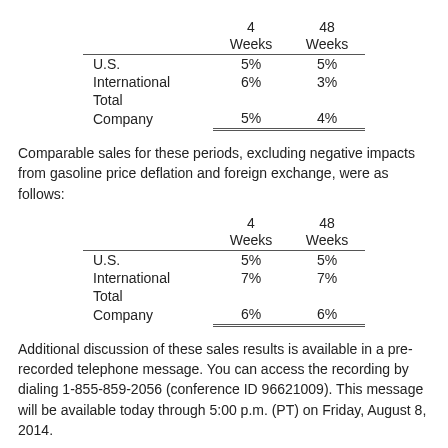|  | 4 Weeks | 48 Weeks |
| --- | --- | --- |
| U.S. | 5% | 5% |
| International | 6% | 3% |
| Total Company | 5% | 4% |
Comparable sales for these periods, excluding negative impacts from gasoline price deflation and foreign exchange, were as follows:
|  | 4 Weeks | 48 Weeks |
| --- | --- | --- |
| U.S. | 5% | 5% |
| International | 7% | 7% |
| Total Company | 6% | 6% |
Additional discussion of these sales results is available in a pre-recorded telephone message. You can access the recording by dialing 1-855-859-2056 (conference ID 96621009). This message will be available today through 5:00 p.m. (PT) on Friday, August 8, 2014.
Costco currently operates 660 warehouses, including 466 in the